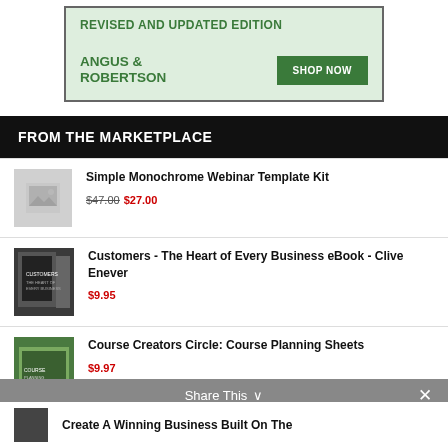[Figure (infographic): Angus & Robertson advertisement banner with 'REVISED AND UPDATED EDITION' text and 'SHOP NOW' button on green background]
FROM THE MARKETPLACE
[Figure (infographic): Placeholder image thumbnail for Simple Monochrome Webinar Template Kit]
Simple Monochrome Webinar Template Kit $47.00 $27.00
[Figure (photo): Book cover thumbnail for Customers - The Heart of Every Business eBook by Clive Enever]
Customers - The Heart of Every Business eBook - Clive Enever $9.95
[Figure (photo): Course Creators Circle: Course Planning Sheets thumbnail image]
Course Creators Circle: Course Planning Sheets $9.97
Share This ∨ ×
Create A Winning Business Built On The